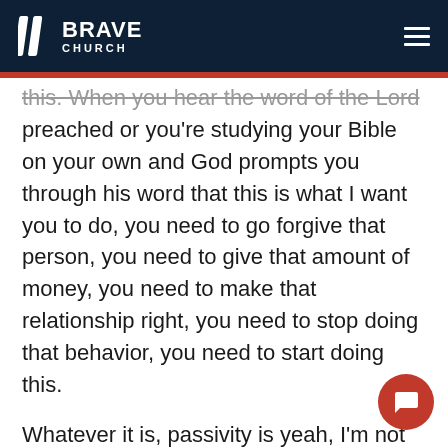BRAVE CHURCH
this. When you hear the word of the Lord preached or you're studying your Bible on your own and God prompts you through his word that this is what I want you to do, you need to go forgive that person, you need to give that amount of money, you need to make that relationship right, you need to stop doing that behavior, you need to start doing this.
Whatever it is, passivity is yeah, I'm not ready to deal with that one yet. It's when we say this in our heart spiritually, "Why do today what I can do tomorrow? I'm sure God will bug me